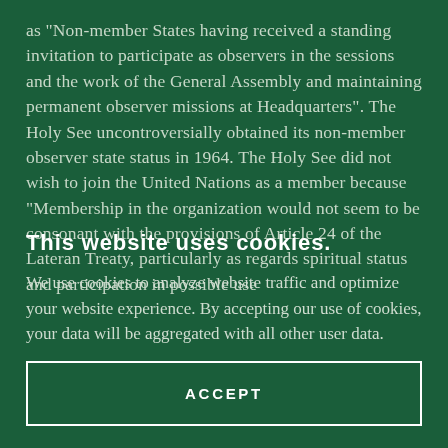as "Non-member States having received a standing invitation to participate as observers in the sessions and the work of the General Assembly and maintaining permanent observer missions at Headquarters". The Holy See uncontroversially obtained its non-member observer state status in 1964. The Holy See did not wish to join the United Nations as a member because "Membership in the organization would not seem to be consonant with the provisions of Article 24 of the Lateran Treaty, particularly as regards spiritual status and participation in possible use
This website uses cookies.
We use cookies to analyze website traffic and optimize your website experience. By accepting our use of cookies, your data will be aggregated with all other user data.
ACCEPT